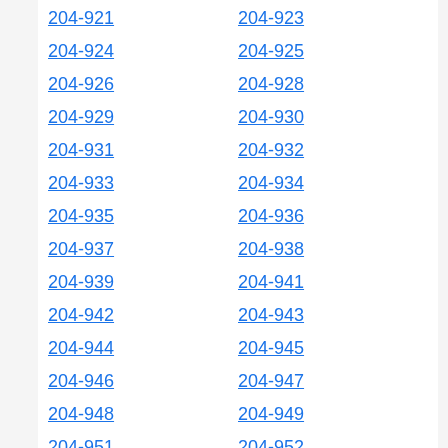204-921
204-923
204-924
204-925
204-926
204-928
204-929
204-930
204-931
204-932
204-933
204-934
204-935
204-936
204-937
204-938
204-939
204-941
204-942
204-943
204-944
204-945
204-946
204-947
204-948
204-949
204-951
204-952
204-953
204-954